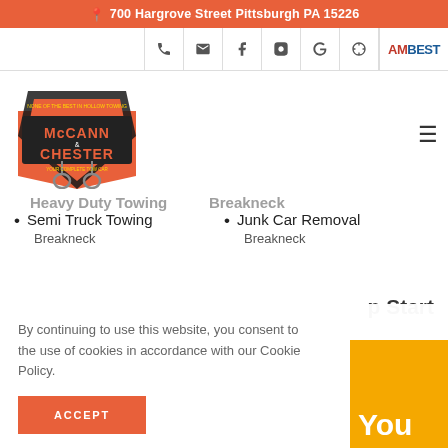700 Hargrove Street Pittsburgh PA 15226
[Figure (screenshot): Icon bar with phone, email, Facebook, Instagram, Google, dollar sign icons and AM BEST logo]
[Figure (logo): McCann & Chester towing company logo]
Heavy Duty Towing Breakneck
Breakneck
Semi Truck Towing Breakneck
Junk Car Removal Breakneck
By continuing to use this website, you consent to the use of cookies in accordance with our Cookie Policy.
ACCEPT
p Start
You